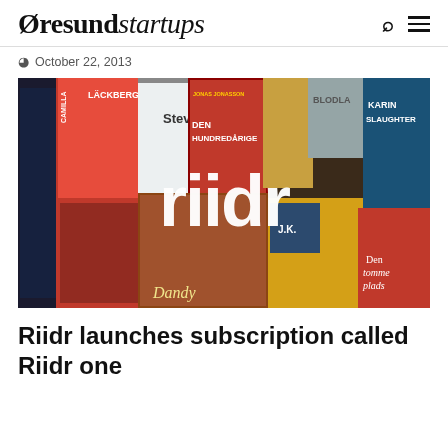Øresundstartups
October 22, 2013
[Figure (photo): Hero image showing a collage of book covers with the Riidr logo overlaid in white text in the center. Book covers visible include works by Camilla Läckberg, Jonas Jonasson (Den Hundredårige), Karin Slaughter, J.K. Rowling, Anna Grue, and others.]
Riidr launches subscription called Riidr one